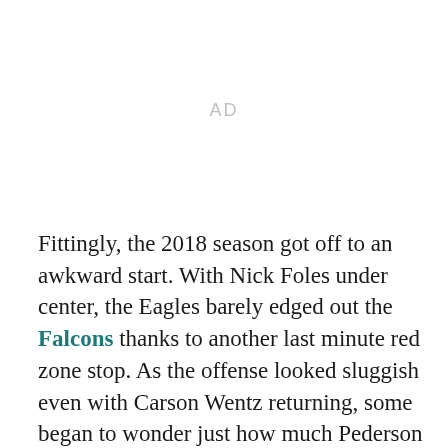[Figure (other): AD placeholder advertisement area]
Fittingly, the 2018 season got off to an awkward start. With Nick Foles under center, the Eagles barely edged out the Falcons thanks to another last minute red zone stop. As the offense looked sluggish even with Carson Wentz returning, some began to wonder just how much Pederson was missing former offensive coordinator Frank Reich and quarterbacks coach John DeFilippo.